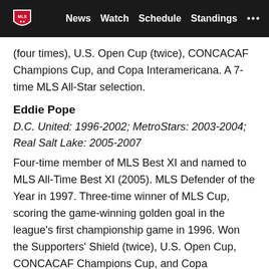MLS | News | Watch | Schedule | Standings | ...
(four times), U.S. Open Cup (twice), CONCACAF Champions Cup, and Copa Interamericana. A 7-time MLS All-Star selection.
Eddie Pope
D.C. United: 1996-2002; MetroStars: 2003-2004; Real Salt Lake: 2005-2007
Four-time member of MLS Best XI and named to MLS All-Time Best XI (2005). MLS Defender of the Year in 1997. Three-time winner of MLS Cup, scoring the game-winning golden goal in the league's first championship game in 1996. Won the Supporters' Shield (twice), U.S. Open Cup, CONCACAF Champions Cup, and Copa Interamericana. An 11-time MLS All-Star selection.
Tab Ramos